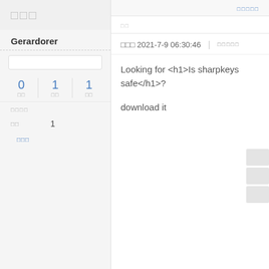□□□□□
□□
Gerardorer
0  □□  |  1  □□  |  1  □□
□□□□
□□    1
□□□
□□□ 2021-7-9 06:30:46  |  □□□□□
Looking for <h1>Is sharpkeys safe</h1>?
download it